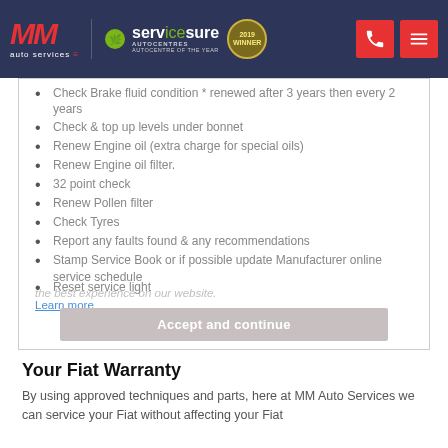MM Auto Services | Servicesure Autocentres | Autocentre of the Year
Check Brake fluid condition * renewed after 3 years then every 2 years
Check & top up levels under bonnet
Renew Engine oil (extra charge for special oils)
Renew Engine oil filter.
32 point check
Renew Pollen filter
Check Tyres
Report any faults found & any recommendations
Stamp Service Book or if possible update Manufacturer online service schedule
Reset service light
the best experience on our website.
Learn more
Accept and continue
Your Fiat Warranty
By using approved techniques and parts, here at MM Auto Services we can service your Fiat without affecting your Fiat